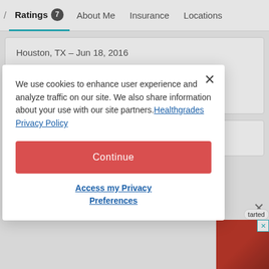/ Ratings 7   About Me   Insurance   Locations
Houston, TX – Jun 18, 2016
9 people found this helpful
Helpful
Leave a review
We use cookies to enhance user experience and analyze traffic on our site. We also share information about your use with our site partners. Healthgrades Privacy Policy
Continue
Access my Privacy Preferences